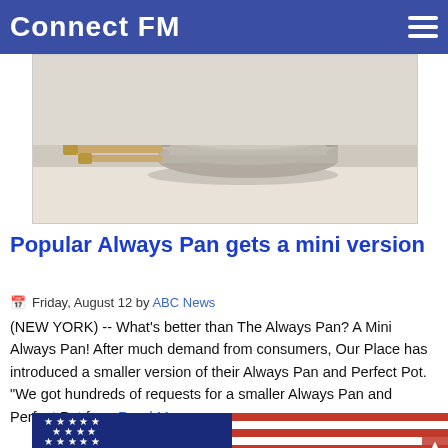Connect FM
[Figure (photo): Two Always Pans (one smaller, one larger) with wooden handles stacked together with a lid, on a white surface against a neutral background.]
Popular Always Pan gets a mini version
Friday, August 12 by ABC News
(NEW YORK) -- What's better than The Always Pan? A Mini Always Pan! After much demand from consumers, Our Place has introduced a smaller version of their Always Pan and Perfect Pot. "We got hundreds of requests for a smaller Always Pan and Perfect Pot for... Read More.
[Figure (photo): American flag waving, showing blue field with white stars and red and white stripes.]